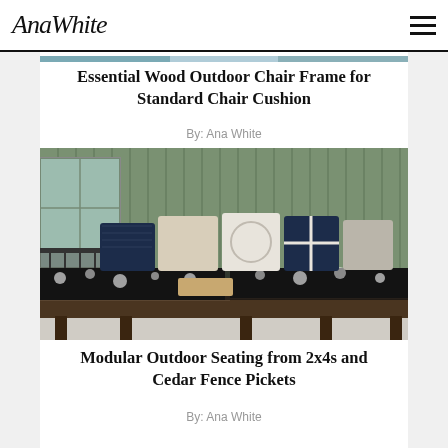AnaWhite [hamburger menu]
[Figure (photo): Partial top strip of an outdoor chair photo, mostly cropped out]
Essential Wood Outdoor Chair Frame for Standard Chair Cushion
By: Ana White
[Figure (photo): Modular outdoor sectional seating made from 2x4s and cedar fence pickets, with black and white floral cushions and various decorative pillows, set on a deck against a green board-and-batten wall]
Modular Outdoor Seating from 2x4s and Cedar Fence Pickets
By: Ana White